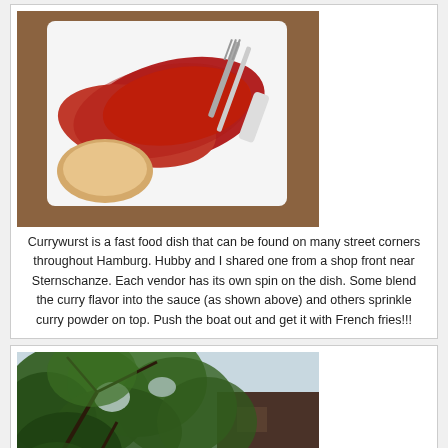[Figure (photo): Currywurst on a white plate with bread and plastic fork and knife, viewed from above on a wooden tray]
Currywurst is a fast food dish that can be found on many street corners throughout Hamburg.  Hubby and I shared one from a shop front near Sternschanze.  Each vendor has its own spin on the dish.  Some blend the curry flavor into the sauce (as shown above) and others sprinkle curry powder on top. Push the boat out and get it with French fries!!!
[Figure (photo): View looking up through green tree branches toward a building and sky]